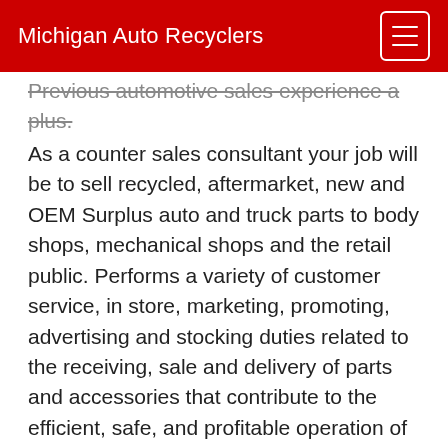Michigan Auto Recyclers
Previous automotive sales experience a plus. As a counter sales consultant your job will be to sell recycled, aftermarket, new and OEM Surplus auto and truck parts to body shops, mechanical shops and the retail public. Performs a variety of customer service, in store, marketing, promoting, advertising and stocking duties related to the receiving, sale and delivery of parts and accessories that contribute to the efficient, safe, and profitable operation of the Michigan Auto Recyclers sales department. Ongoing responsibility for assisting with the counter parts sales and customer service responsibilities.
Parts Department Responsibilities: